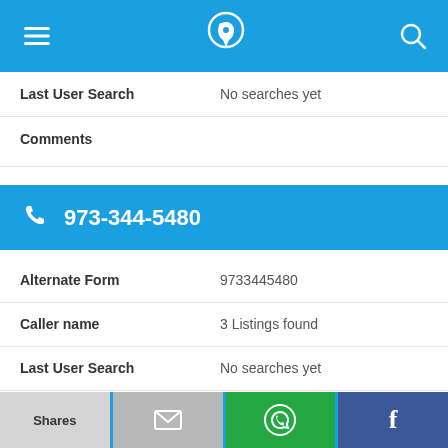Navigation bar with menu, phone/location icon, and search icon
Last User Search   No searches yet
Comments
973-344-5480
Alternate Form   9733445480
Caller name   3 Listings found
Last User Search   No searches yet
Comments
Shares | (email icon) | (WhatsApp icon) | f